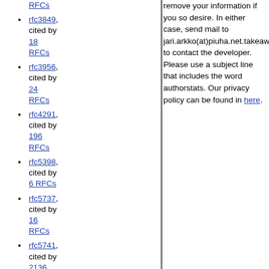rfc3849, cited by 18 RFCs
rfc3956, cited by 24 RFCs
rfc4291, cited by 196 RFCs
rfc5398, cited by 6 RFCs
rfc5737, cited by 16 RFCs
rfc5741, cited by 2136 RFCs
rfc6034, cited by 3 RFCs
remove your information if you so desire. In either case, send mail to jari.arkko(at)piuha.net.takeaway to contact the developer. Please use a subject line that includes the word authorstats. Our privacy policy can be found in here.